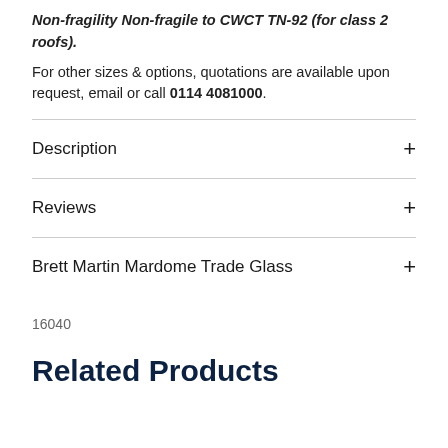Non-fragility Non-fragile to CWCT TN-92 (for class 2 roofs). For other sizes & options, quotations are available upon request, email or call 0114 4081000.
Description
Reviews
Brett Martin Mardome Trade Glass
16040
Related Products